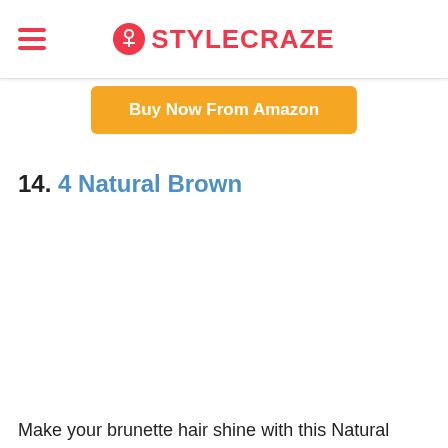STYLECRAZE
[Figure (other): Buy Now From Amazon orange button]
14. 4 Natural Brown
Make your brunette hair shine with this Natural